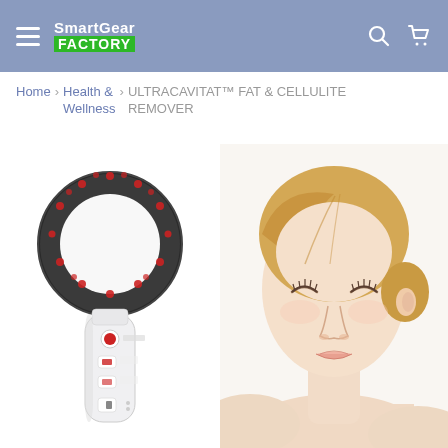SmartGear FACTORY
Home › Health & Wellness › ULTRACAVITAT™ FAT & CELLULITE REMOVER
[Figure (photo): UltraCavitat fat and cellulite remover device — a white handheld device with a large circular dark ultrasonic head featuring red LED lights, and a white handle with red buttons and controls]
[Figure (photo): Young blonde woman with eyes closed, serene expression, bare shoulders, on white background — model photo for beauty/wellness product]